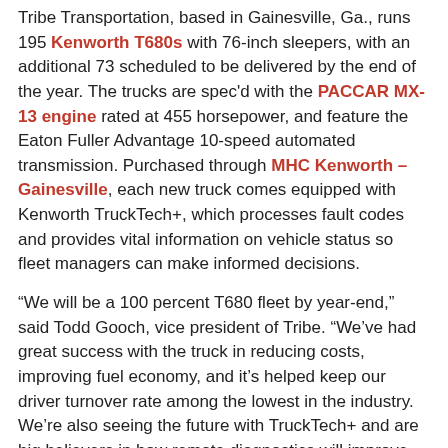Tribe Transportation, based in Gainesville, Ga., runs 195 Kenworth T680s with 76-inch sleepers, with an additional 73 scheduled to be delivered by the end of the year. The trucks are spec'd with the PACCAR MX-13 engine rated at 455 horsepower, and feature the Eaton Fuller Advantage 10-speed automated transmission. Purchased through MHC Kenworth – Gainesville, each new truck comes equipped with Kenworth TruckTech+, which processes fault codes and provides vital information on vehicle status so fleet managers can make informed decisions.
“We will be a 100 percent T680 fleet by year-end,” said Todd Gooch, vice president of Tribe. “We’ve had great success with the truck in reducing costs, improving fuel economy, and it’s helped keep our driver turnover rate among the lowest in the industry. We’re also seeing the future with TruckTech+ and are big believers in how remote diagnostics will improve our uptime. It’s doing it already.”
Tribe was one of Kenworth’s first customers to use